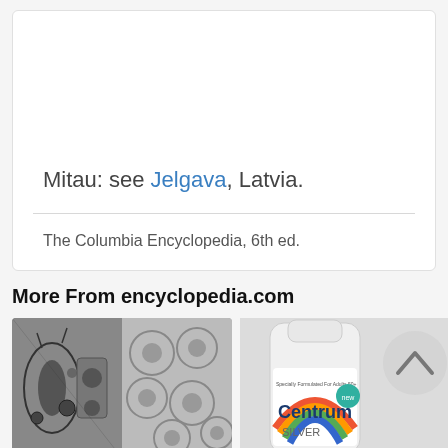Mitau: see Jelgava, Latvia.
The Columbia Encyclopedia, 6th ed.
More From encyclopedia.com
[Figure (photo): Two microscopy images side by side showing biological tissue cross-sections in black and white]
[Figure (photo): Centrum Silver vitamin supplement bottle with rainbow logo, partially overlapped by a circular scroll-up button]